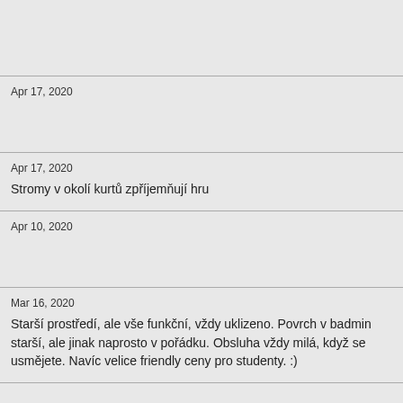Apr 17, 2020
Apr 17, 2020
Stromy v okolí kurtů zpříjemňují hru
Apr 10, 2020
Mar 16, 2020
Starší prostředí, ale vše funkční, vždy uklizeno. Povrch v badmin starší, ale jinak naprosto v pořádku. Obsluha vždy milá, když se usmějete. Navíc velice friendly ceny pro studenty. :)